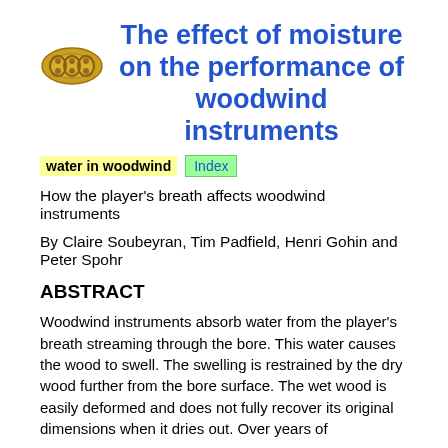The effect of moisture on the performance of woodwind instruments
[Figure (logo): Small decorative image of a woodwind instrument segment (gold/yellow colored)]
water in woodwind   Index
How the player's breath affects woodwind instruments
By Claire Soubeyran, Tim Padfield, Henri Gohin and Peter Spohr
ABSTRACT
Woodwind instruments absorb water from the player's breath streaming through the bore. This water causes the wood to swell. The swelling is restrained by the dry wood further from the bore surface. The wet wood is easily deformed and does not fully recover its original dimensions when it dries out. Over years of